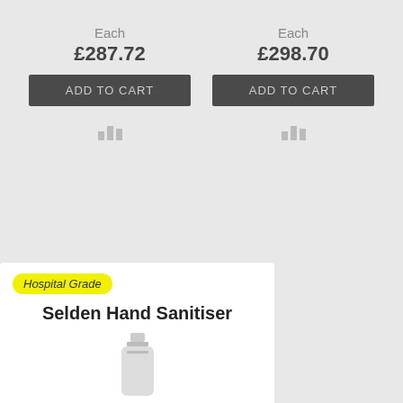Each
£287.72
ADD TO CART
Each
£298.70
ADD TO CART
Hospital Grade
Selden Hand Sanitiser
[Figure (photo): Bottle of Selden Hand Sanitiser, partially visible at bottom of card]